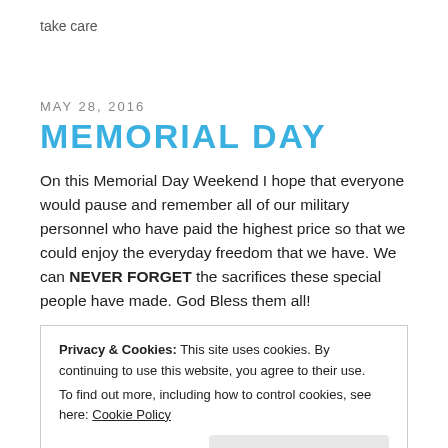take care
MAY 28, 2016
MEMORIAL DAY
On this Memorial Day Weekend I hope that everyone would pause and remember all of our military personnel who have paid the highest price so that we could enjoy the everyday freedom that we have. We can NEVER FORGET the sacrifices these special people have made. God Bless them all!
Privacy & Cookies: This site uses cookies. By continuing to use this website, you agree to their use.
To find out more, including how to control cookies, see here: Cookie Policy
Close and accept
GOLF RAIL GUN